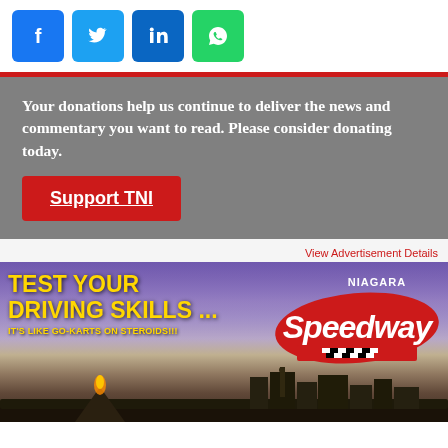[Figure (other): Social media share buttons: Facebook (blue), Twitter (light blue), LinkedIn (dark blue), WhatsApp (green)]
Your donations help us continue to deliver the news and commentary you want to read. Please consider donating today.
Support TNI
View Advertisement Details
[Figure (other): Niagara Speedway advertisement banner with yellow text 'TEST YOUR DRIVING SKILLS ... IT'S LIKE GO-KARTS ON STEROIDS!!!' and the Niagara Speedway logo on a photographic background of the Niagara skyline at dusk]